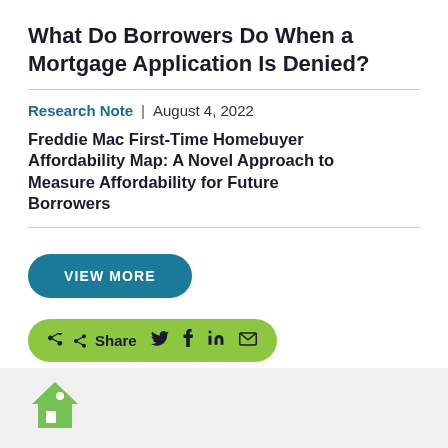What Do Borrowers Do When a Mortgage Application Is Denied?
Research Note  |  August 4, 2022
Freddie Mac First-Time Homebuyer Affordability Map: A Novel Approach to Measure Affordability for Future Borrowers
VIEW MORE
Share
[Figure (logo): Freddie Mac logo (green house icon) in the footer]